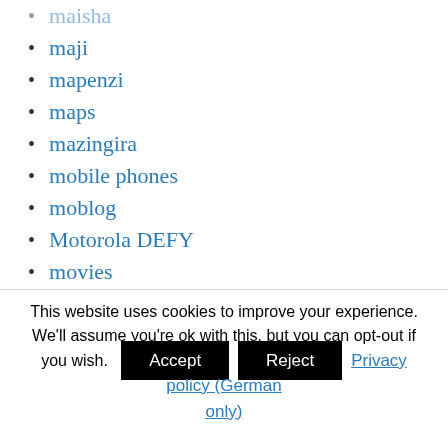maisha
maji
mapenzi
maps
mazingira
mobile phones
moblog
Motorola DEFY
movies
ngoma
nippon
This website uses cookies to improve your experience. We'll assume you're ok with this, but you can opt-out if you wish. Accept Reject Privacy policy (German only)